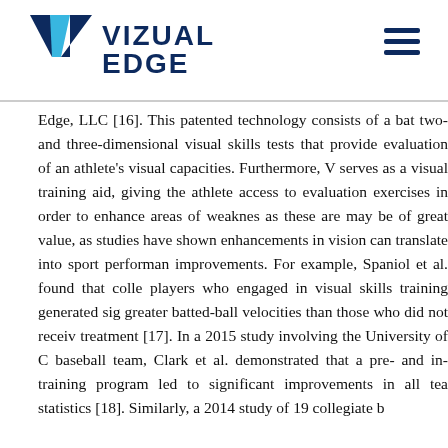VIZUAL EDGE
Edge, LLC [16]. This patented technology consists of a battery of two- and three-dimensional visual skills tests that provide evaluation of an athlete's visual capacities. Furthermore, V serves as a visual training aid, giving the athlete access to evaluation exercises in order to enhance areas of weakness as these are may be of great value, as studies have shown enhancements in vision can translate into sport performance improvements. For example, Spaniol et al. found that college players who engaged in visual skills training generated significantly greater batted-ball velocities than those who did not receive treatment [17]. In a 2015 study involving the University of C baseball team, Clark et al. demonstrated that a pre- and in- training program led to significant improvements in all team statistics [18]. Similarly, a 2014 study of 19 collegiate b